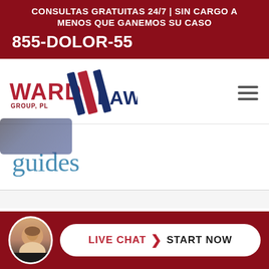CONSULTAS GRATUITAS 24/7 | SIN CARGO A MENOS QUE GANEMOS SU CASO
855-DOLOR-55
[Figure (logo): Ward Group PL Law logo with red and blue lettering and a stylized W mark]
guides
[Figure (infographic): Live chat bar with female avatar, red background, white pill-shaped button reading LIVE CHAT > START NOW]